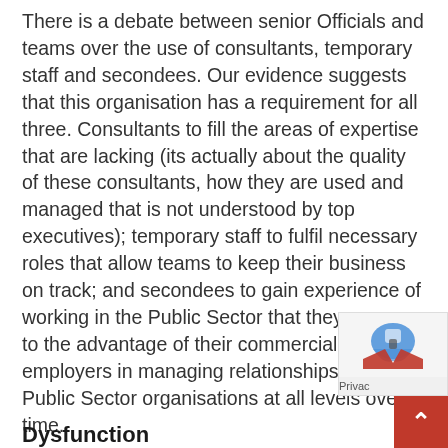There is a debate between senior Officials and teams over the use of consultants, temporary staff and secondees. Our evidence suggests that this organisation has a requirement for all three. Consultants to fill the areas of expertise that are lacking (its actually about the quality of these consultants, how they are used and managed that is not understood by top executives); temporary staff to fulfil necessary roles that allow teams to keep their business on track; and secondees to gain experience of working in the Public Sector that they can use to the advantage of their commercial employers in managing relationships with Public Sector organisations at all levels over time.
Dysfunction